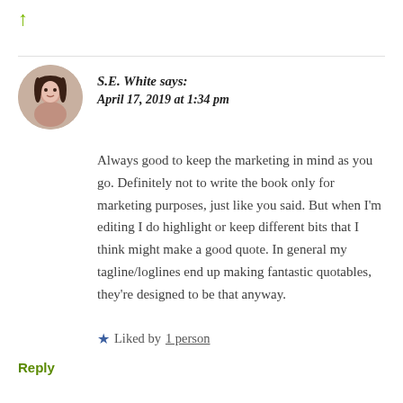S.E. White says:
April 17, 2019 at 1:34 pm
Always good to keep the marketing in mind as you go. Definitely not to write the book only for marketing purposes, just like you said. But when I'm editing I do highlight or keep different bits that I think might make a good quote. In general my tagline/loglines end up making fantastic quotables, they're designed to be that anyway.
★ Liked by 1 person
Reply